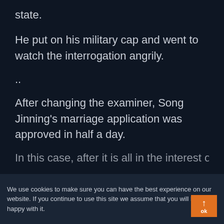state.
He put on his military cap and went to watch the interrogation angrily.
..
After changing the examiner, Song Jinning’s marriage application was approved in half a day.
[partial line at bottom]
We use cookies to make sure you can have the best experience on our website. If you continue to use this site we assume that you will be happy with it.